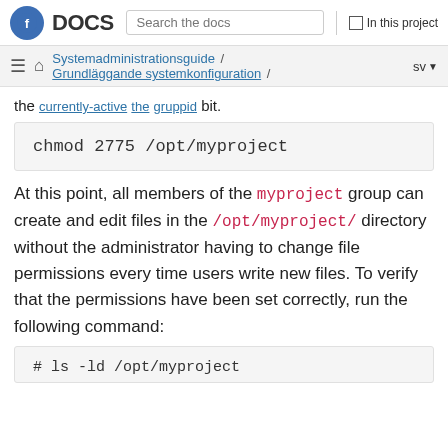Fedora DOCS | Search the docs | In this project
Systemadministrationsguide / Grundläggande systemkonfiguration / sv
the currently-active the sgid bit.
chmod 2775 /opt/myproject
At this point, all members of the myproject group can create and edit files in the /opt/myproject/ directory without the administrator having to change file permissions every time users write new files. To verify that the permissions have been set correctly, run the following command:
# ls -ld /opt/myproject